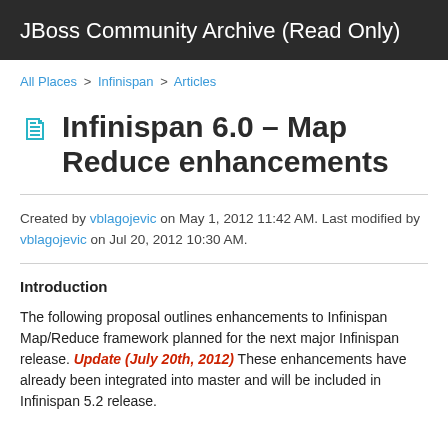JBoss Community Archive (Read Only)
All Places > Infinispan > Articles
Infinispan 6.0 – Map Reduce enhancements
Created by vblagojevic on May 1, 2012 11:42 AM. Last modified by vblagojevic on Jul 20, 2012 10:30 AM.
Introduction
The following proposal outlines enhancements to Infinispan Map/Reduce framework planned for the next major Infinispan release. Update (July 20th, 2012) These enhancements have already been integrated into master and will be included in Infinispan 5.2 release.